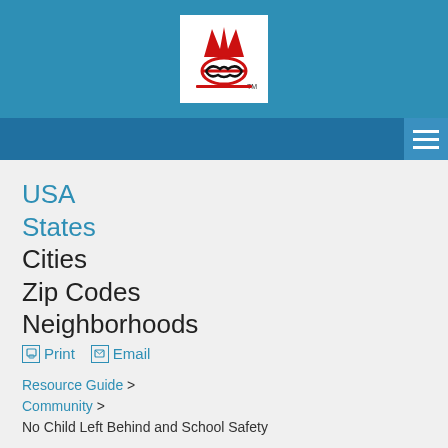[Figure (logo): Organization logo with handshake and crown/flame graphic in red and black on white background]
USA
States
Cities
Zip Codes
Neighborhoods
Print  Email
Resource Guide > Community > No Child Left Behind and School Safety
No Child Left Behind and School Safety